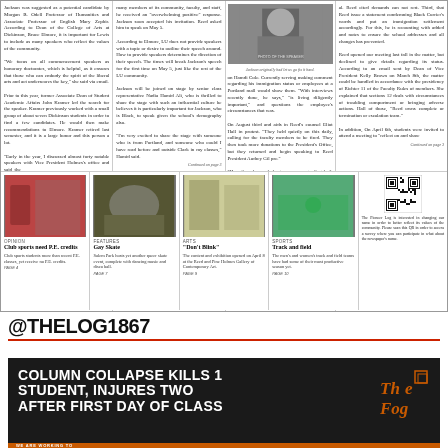[Figure (photo): Newspaper front page with multiple columns of text and a central photo of a speaker/presenter, plus a bottom strip of 5 small photos covering sports, features, arts, and a QR code]
@THELOG1867
[Figure (photo): Advertisement with dark background reading: COLUMN COLLAPSE KILLS 1 STUDENT, INJURES TWO AFTER FIRST DAY OF CLASS with The Log logo and WE ARE WORKING TO text at bottom]